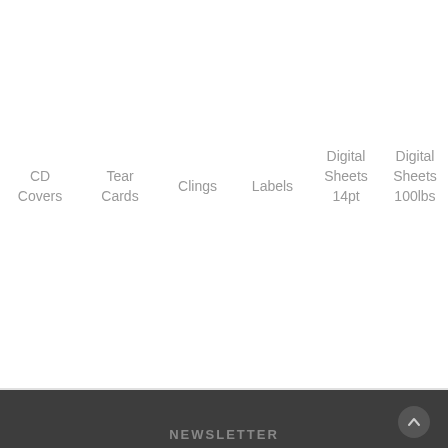| CD Covers | Tear Cards | Clings | Labels | Digital Sheets 14pt | Digital Sheets 100lbs |
| --- | --- | --- | --- | --- | --- |
NEWSLETTER